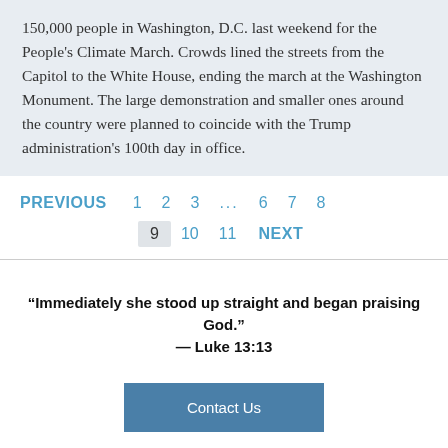150,000 people in Washington, D.C. last weekend for the People's Climate March. Crowds lined the streets from the Capitol to the White House, ending the march at the Washington Monument. The large demonstration and smaller ones around the country were planned to coincide with the Trump administration's 100th day in office.
PREVIOUS  1  2  3  ...  6  7  8  9  10  11  NEXT
“Immediately she stood up straight and began praising God.” — Luke 13:13
Contact Us